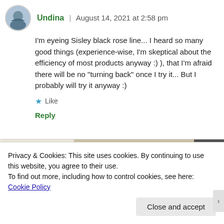Undina | August 14, 2021 at 2:58 pm
I'm eyeing Sisley black rose line... I heard so many good things (experience-wise, I'm skeptical about the efficiency of most products anyway :) ), that I'm afraid there will be no "turning back" once I try it... But I probably will try it anyway :)
★ Like
Reply
[Figure (screenshot): Advertisement banner with green 'Explore options' button on a beige background with food/lifestyle images on the right side]
Privacy & Cookies: This site uses cookies. By continuing to use this website, you agree to their use.
To find out more, including how to control cookies, see here: Cookie Policy
Close and accept